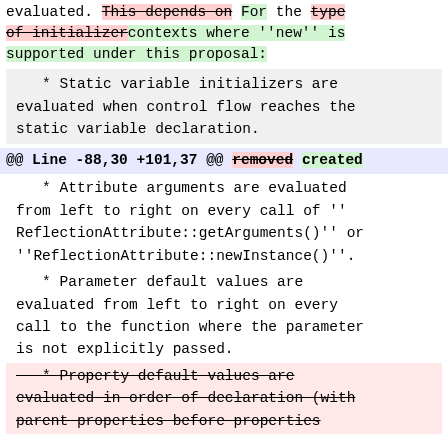evaluated. [strikethrough]This depends on[/strikethrough] For the [strikethrough]type of initializer[/strikethrough]contexts where ''new'' is supported under this proposal:
* Static variable initializers are evaluated when control flow reaches the static variable declaration.
@@ Line -88,30 +101,37 @@ [strikethrough]removed[/strikethrough] created
* Attribute arguments are evaluated from left to right on every call of ''ReflectionAttribute::getArguments()'' or ''ReflectionAttribute::newInstance()''.
* Parameter default values are evaluated from left to right on every call to the function where the parameter is not explicitly passed.
[strikethrough]* Property default values are evaluated in order of declaration (with parent properties before properties[/strikethrough]